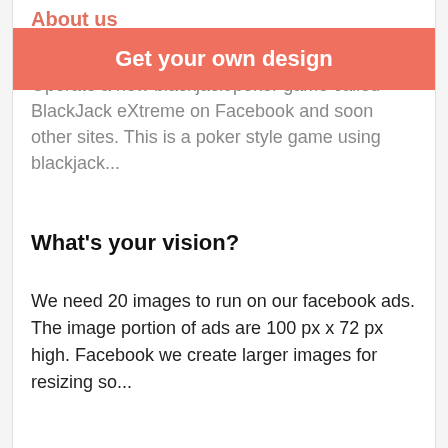About us
[Figure (other): Red/salmon banner overlay with text 'Get your own design']
Operate a new blackjack/poker game called BlackJack eXtreme on Facebook and soon other sites. This is a poker style game using blackjack...
What's your vision?
We need 20 images to run on our facebook ads. The image portion of ads are 100 px x 72 px high. Facebook we create larger images for resizing so...